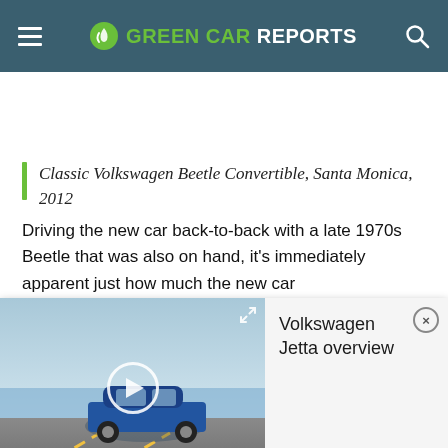GREEN CAR REPORTS
Classic Volkswagen Beetle Convertible, Santa Monica, 2012
Driving the new car back-to-back with a late 1970s Beetle that was also on hand, it's immediately apparent just how much the new car
[Figure (screenshot): Volkswagen Jetta overview video thumbnail showing blue Jetta driving on a road near water, with a video overlay panel showing title 'Volkswagen Jetta overview' and a close button]